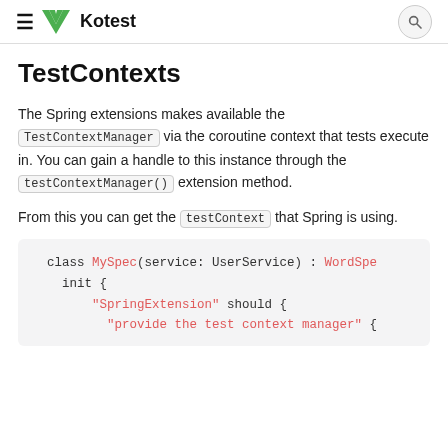≡ Kotest
TestContexts
The Spring extensions makes available the TestContextManager via the coroutine context that tests execute in. You can gain a handle to this instance through the testContextManager() extension method.
From this you can get the testContext that Spring is using.
[Figure (screenshot): Code block showing: class MySpec(service: UserService) : WordSpe    init {        "SpringExtension" should {            "provide the test context manager" {]